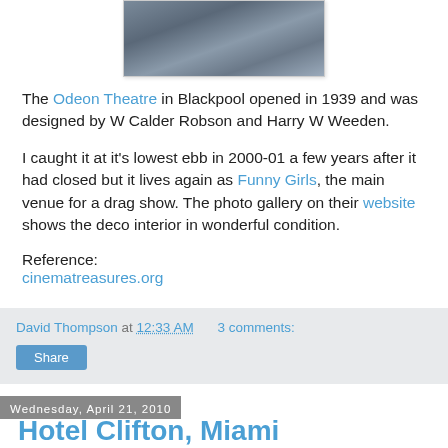[Figure (photo): Partial view of the Odeon Theatre building exterior in Blackpool]
The Odeon Theatre in Blackpool opened in 1939 and was designed by W Calder Robson and Harry W Weeden.
I caught it at it's lowest ebb in 2000-01 a few years after it had closed but it lives again as Funny Girls, the main venue for a drag show. The photo gallery on their website shows the deco interior in wonderful condition.
Reference:
cinamatreasures.org
David Thompson at 12:33 AM   3 comments:
Share
Wednesday, April 21, 2010
Hotel Clifton, Miami